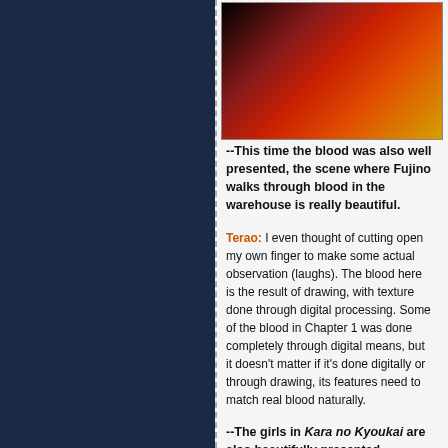[Figure (photo): Close-up photo with dark background showing red and orange tones, likely anime artwork related to blood imagery from Kara no Kyoukai]
--This time the blood was also well presented, the scene where Fujino walks through blood in the warehouse is really beautiful.
Terao: I even thought of cutting open my own finger to make some actual observation (laughs). The blood here is the result of drawing, with texture done through digital processing. Some of the blood in Chapter 1 was done completely through digital means, but it doesn't matter if it's done digitally or through drawing, its features need to match real blood naturally.
--The girls in Kara no Kyoukai are also beautifully presented.